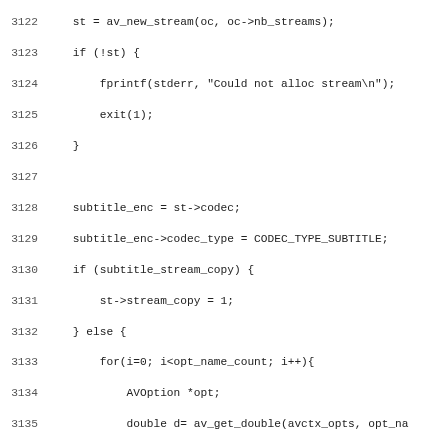Source code listing, lines 3122-3154
3122    st = av_new_stream(oc, oc->nb_streams);
3123    if (!st) {
3124        fprintf(stderr, "Could not alloc stream\n");
3125        exit(1);
3126    }
3127
3128    subtitle_enc = st->codec;
3129    subtitle_enc->codec_type = CODEC_TYPE_SUBTITLE;
3130    if (subtitle_stream_copy) {
3131        st->stream_copy = 1;
3132    } else {
3133        for(i=0; i<opt_name_count; i++){
3134            AVOption *opt;
3135            double d= av_get_double(avctx_opts, opt_na
3136            if(d==d && (opt->flags&AV_OPT_FLAG_SUBTITL
3137                av_set_double(subtitle_enc, opt_names[
3138        }
3139        subtitle_enc->codec_id = subtitle_codec_id;
3140    }
3141
3142    if (subtitle_language) {
3143        pstrcpy(st->language, sizeof(st->language), sub
3144        av_free(subtitle_language);
3145        subtitle_language = NULL;
3146    }
3147
3148    subtitle_codec_id = CODEC_ID_NONE;
3149    subtitle_stream_copy = 0;
3150 }
3151
3152 static void opt_new_audio_stream(void)
3153 {
3154    AVFormatContext *oc;